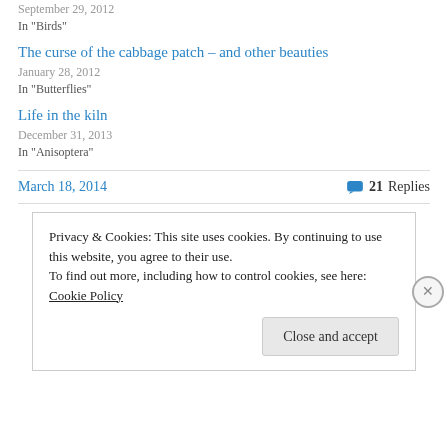September 29, 2012
In "Birds"
The curse of the cabbage patch – and other beauties
January 28, 2012
In "Butterflies"
Life in the kiln
December 31, 2013
In "Anisoptera"
March 18, 2014
21 Replies
Privacy & Cookies: This site uses cookies. By continuing to use this website, you agree to their use.
To find out more, including how to control cookies, see here: Cookie Policy
Close and accept